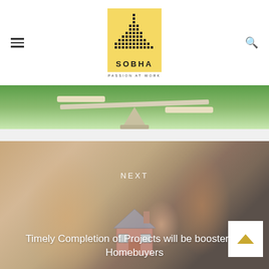[Figure (logo): SOBHA logo with yellow background, bar chart icon, text SOBHA and tagline PASSION AT WORK]
[Figure (photo): Balance/scale image with green background, partially cropped]
[Figure (photo): Blurred photo of couple holding a small house model, labeled NEXT with article title overlay]
NEXT
Timely Completion of Projects will be booster for Homebuyers